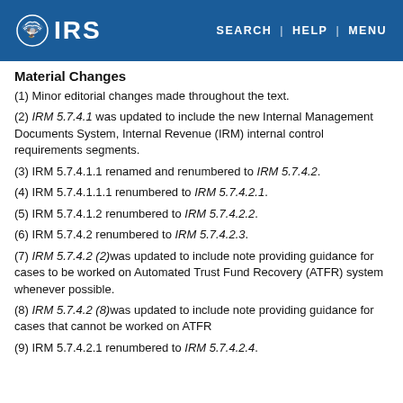IRS | SEARCH | HELP | MENU
Material Changes
(1) Minor editorial changes made throughout the text.
(2) IRM 5.7.4.1 was updated to include the new Internal Management Documents System, Internal Revenue (IRM) internal control requirements segments.
(3) IRM 5.7.4.1.1 renamed and renumbered to IRM 5.7.4.2.
(4) IRM 5.7.4.1.1.1 renumbered to IRM 5.7.4.2.1.
(5) IRM 5.7.4.1.2 renumbered to IRM 5.7.4.2.2.
(6) IRM 5.7.4.2 renumbered to IRM 5.7.4.2.3.
(7) IRM 5.7.4.2 (2)was updated to include note providing guidance for cases to be worked on Automated Trust Fund Recovery (ATFR) system whenever possible.
(8) IRM 5.7.4.2 (8)was updated to include note providing guidance for cases that cannot be worked on ATFR
(9) IRM 5.7.4.2.1 renumbered to IRM 5.7.4.2.4.